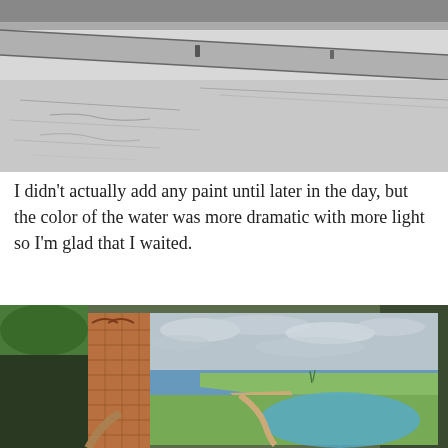[Figure (illustration): A pencil sketch drawing of a bridge or road structure over water, with diagonal lines suggesting perspective. The sketch is on white paper with light gray pencil strokes.]
I didn't actually add any paint until later in the day, but the color of the water was more dramatic with more light so I'm glad that I waited.
[Figure (photo): A photograph of a watercolor painting being held outdoors. The painting depicts a coastal landscape with a brick tower on the left, blue-green water, sandy paths, and green fields under a cloudy sky. The painting is on white watercolor paper with rough edges.]